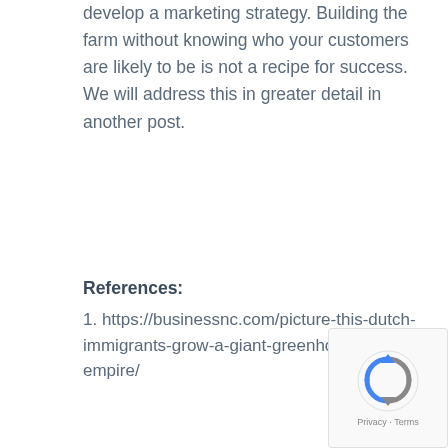develop a marketing strategy. Building the farm without knowing who your customers are likely to be is not a recipe for success. We will address this in greater detail in another post.
References:
1. https://businessnc.com/picture-this-dutch-immigrants-grow-a-giant-greenhouse-empire/
[Figure (other): reCAPTCHA widget showing a blue and grey recycling-arrow logo with 'Privacy · Terms' text below]